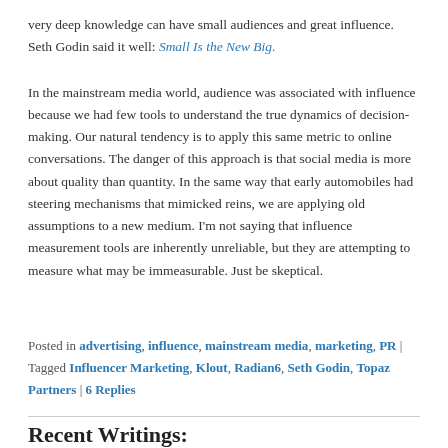very deep knowledge can have small audiences and great influence. Seth Godin said it well: Small Is the New Big.
In the mainstream media world, audience was associated with influence because we had few tools to understand the true dynamics of decision-making. Our natural tendency is to apply this same metric to online conversations. The danger of this approach is that social media is more about quality than quantity. In the same way that early automobiles had steering mechanisms that mimicked reins, we are applying old assumptions to a new medium. I’m not saying that influence measurement tools are inherently unreliable, but they are attempting to measure what may be immeasurable. Just be skeptical.
Posted in advertising, influence, mainstream media, marketing, PR | Tagged Influencer Marketing, Klout, Radian6, Seth Godin, Topaz Partners | 6 Replies
Recent Writings: